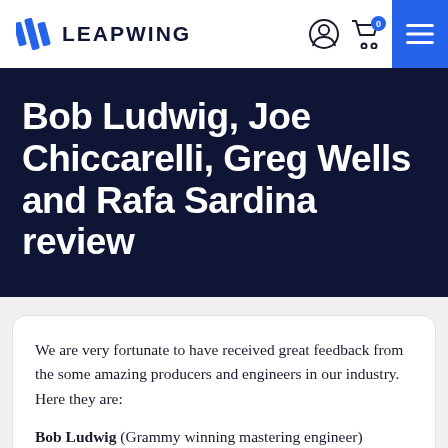LEAPWING
Bob Ludwig, Joe Chiccarelli, Greg Wells and Rafa Sardina review
We are very fortunate to have received great feedback from the some amazing producers and engineers in our industry. Here they are:
Bob Ludwig (Grammy winning mastering engineer)